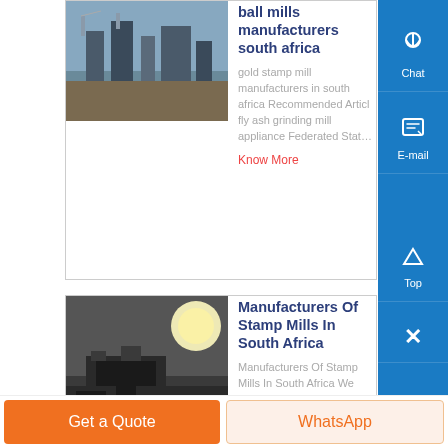[Figure (photo): Industrial machinery / ball mill facility with blue sky background]
ball mills manufacturers south africa
gold stamp mill manufacturers in south africa Recommended Articl fly ash grinding mill appliance Federated Stat…
Know More
[Figure (photo): Stamp mill machinery in South Africa with sun flare]
Manufacturers Of Stamp Mills In South Africa
Manufacturers Of Stamp Mills In South Africa We
Get a Quote
WhatsApp